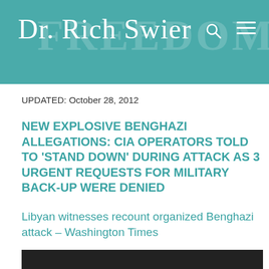Dr. Rich Swier
UPDATED: October 28, 2012
NEW EXPLOSIVE BENGHAZI ALLEGATIONS: CIA OPERATORS TOLD TO 'STAND DOWN' DURING ATTACK AS 3 URGENT REQUESTS FOR MILITARY BACK-UP WERE DENIED
Libyan witnesses recount organized Benghazi attack – Washington Times
[Figure (photo): Dark/black image block at bottom of page]